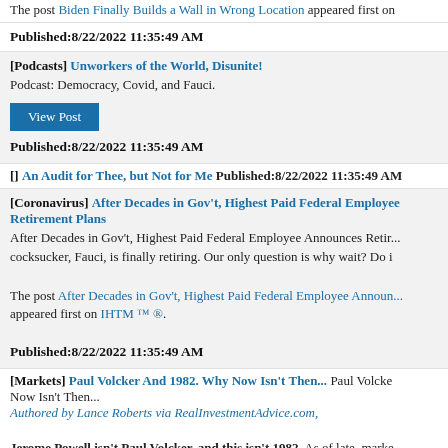The post Biden Finally Builds a Wall in Wrong Location appeared first on
Published:8/22/2022 11:35:49 AM
[Podcasts] Unworkers of the World, Disunite!
Podcast: Democracy, Covid, and Fauci.
View Post
Published:8/22/2022 11:35:49 AM
[] An Audit for Thee, but Not for Me Published:8/22/2022 11:35:49 AM
[Coronavirus] After Decades in Gov't, Highest Paid Federal Employee Announces Retirement Plans
After Decades in Gov't, Highest Paid Federal Employee Announces Reti... cocksucker, Fauci, is finally retiring. Our only question is why wait? Do i
The post After Decades in Gov't, Highest Paid Federal Employee Announ... appeared first on IHTM ™ ®.
Published:8/22/2022 11:35:49 AM
[Markets] Paul Volcker And 1982. Why Now Isn't Then... Paul Volcker... Now Isn't Then...
Authored by Lance Roberts via RealInvestmentAdvice.com,
Jerome Powell isn't Paul Volcker, and this isn't 1982. As of late, marke... stumbling all over themselves, trying to outdo each other on the "why this different" related to the Federal Reserve's ongoing inflation fight. One of comparisons came from the always uber-bullish Tom Lee of FundStrat.